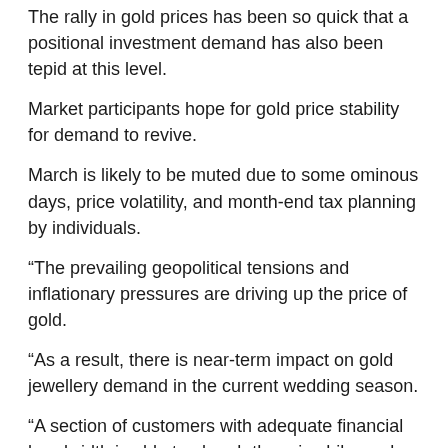The rally in gold prices has been so quick that a positional investment demand has also been tepid at this level.
Market participants hope for gold price stability for demand to revive.
March is likely to be muted due to some ominous days, price volatility, and month-end tax planning by individuals.
“The prevailing geopolitical tensions and inflationary pressures are driving up the price of gold.
“As a result, there is near-term impact on gold jewellery demand in the current wedding season.
“A section of customers with adequate financial bandwidth is able to absorb the price hike and sticking to its preset budgets.